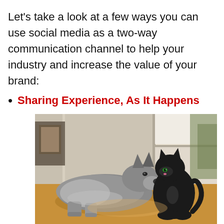Let's take a look at a few ways you can use social media as a two-way communication channel to help your industry and increase the value of your brand:
Sharing Experience, As It Happens
[Figure (photo): A dog and a black cat sitting together on a wooden floor near a window, touching noses or sniffing each other.]